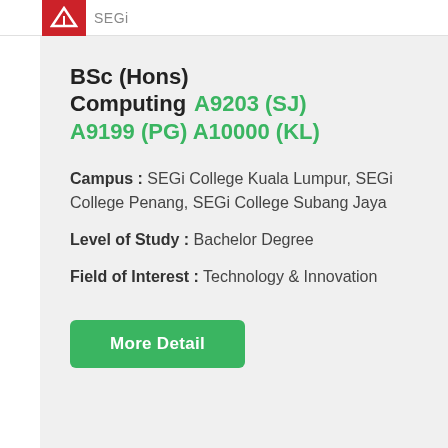SEGi
BSc (Hons) Computing A9203 (SJ) A9199 (PG) A10000 (KL)
Campus: SEGi College Kuala Lumpur, SEGi College Penang, SEGi College Subang Jaya
Level of Study: Bachelor Degree
Field of Interest: Technology & Innovation
More Detail